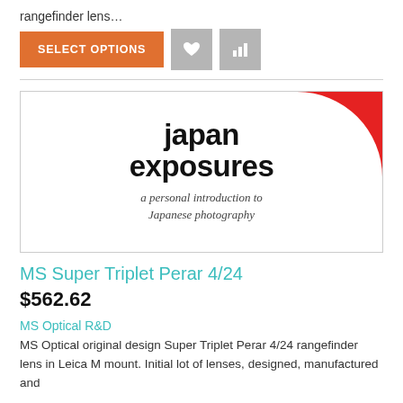rangefinder lens…
[Figure (screenshot): SELECT OPTIONS button (orange) and two grey icon buttons (heart and bar chart)]
[Figure (logo): Japan Exposures logo — bold black text 'japan exposures' with red quarter-circle top right, italic tagline 'a personal introduction to Japanese photography']
MS Super Triplet Perar 4/24
$562.62
MS Optical R&D
MS Optical original design Super Triplet Perar 4/24 rangefinder lens in Leica M mount. Initial lot of lenses, designed, manufactured and